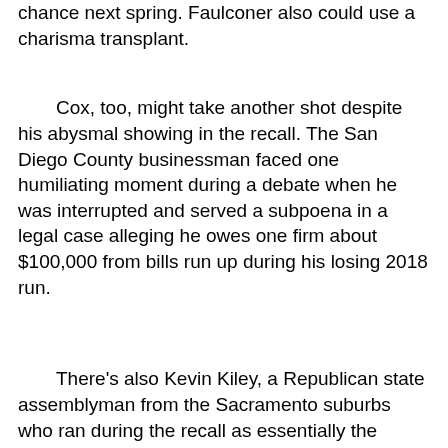chance next spring. Faulconer also could use a charisma transplant.
Cox, too, might take another shot despite his abysmal showing in the recall. The San Diego County businessman faced one humiliating moment during a debate when he was interrupted and served a subpoena in a legal case alleging he owes one firm about $100,000 from bills run up during his losing 2018 run.
There’s also Kevin Kiley, a Republican state assemblyman from the Sacramento suburbs who ran during the recall as essentially the purest of the GOP possibilities. Kiley was given to purveying the occasional disprovable half-truth during his run.